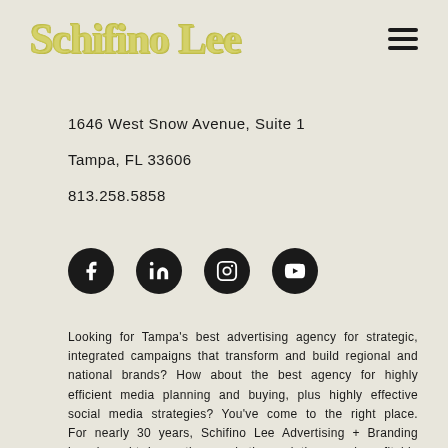Schifino Lee
1646 West Snow Avenue, Suite 1
Tampa, FL 33606
813.258.5858
[Figure (infographic): Social media icons: Facebook, LinkedIn, Instagram, YouTube — black circular buttons]
Looking for Tampa's best advertising agency for strategic, integrated campaigns that transform and build regional and national brands? How about the best agency for highly efficient media planning and buying, plus highly effective social media strategies? You've come to the right place. For nearly 30 years, Schifino Lee Advertising + Branding has brought innovative marketing solutions and profitable results to big-name consumer and B2B companies.